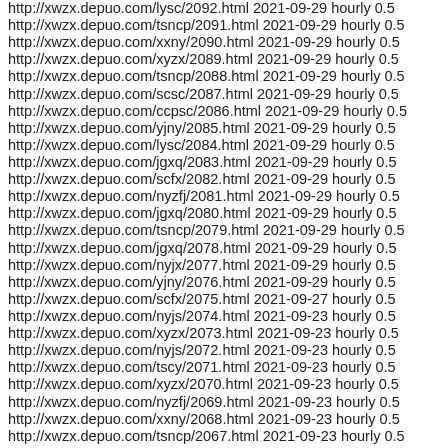http://xwzx.depuo.com/lysc/2092.html 2021-09-29 hourly 0.5
http://xwzx.depuo.com/tsncp/2091.html 2021-09-29 hourly 0.5
http://xwzx.depuo.com/xxny/2090.html 2021-09-29 hourly 0.5
http://xwzx.depuo.com/xyzx/2089.html 2021-09-29 hourly 0.5
http://xwzx.depuo.com/tsncp/2088.html 2021-09-29 hourly 0.5
http://xwzx.depuo.com/scsc/2087.html 2021-09-29 hourly 0.5
http://xwzx.depuo.com/ccpsc/2086.html 2021-09-29 hourly 0.5
http://xwzx.depuo.com/yjny/2085.html 2021-09-29 hourly 0.5
http://xwzx.depuo.com/lysc/2084.html 2021-09-29 hourly 0.5
http://xwzx.depuo.com/jgxq/2083.html 2021-09-29 hourly 0.5
http://xwzx.depuo.com/scfx/2082.html 2021-09-29 hourly 0.5
http://xwzx.depuo.com/nyzfj/2081.html 2021-09-29 hourly 0.5
http://xwzx.depuo.com/jgxq/2080.html 2021-09-29 hourly 0.5
http://xwzx.depuo.com/tsncp/2079.html 2021-09-29 hourly 0.5
http://xwzx.depuo.com/jgxq/2078.html 2021-09-29 hourly 0.5
http://xwzx.depuo.com/nyjx/2077.html 2021-09-29 hourly 0.5
http://xwzx.depuo.com/yjny/2076.html 2021-09-29 hourly 0.5
http://xwzx.depuo.com/scfx/2075.html 2021-09-27 hourly 0.5
http://xwzx.depuo.com/nyjs/2074.html 2021-09-23 hourly 0.5
http://xwzx.depuo.com/xyzx/2073.html 2021-09-23 hourly 0.5
http://xwzx.depuo.com/nyjs/2072.html 2021-09-23 hourly 0.5
http://xwzx.depuo.com/tscy/2071.html 2021-09-23 hourly 0.5
http://xwzx.depuo.com/xyzx/2070.html 2021-09-23 hourly 0.5
http://xwzx.depuo.com/nyzfj/2069.html 2021-09-23 hourly 0.5
http://xwzx.depuo.com/xxny/2068.html 2021-09-23 hourly 0.5
http://xwzx.depuo.com/tsncp/2067.html 2021-09-23 hourly 0.5